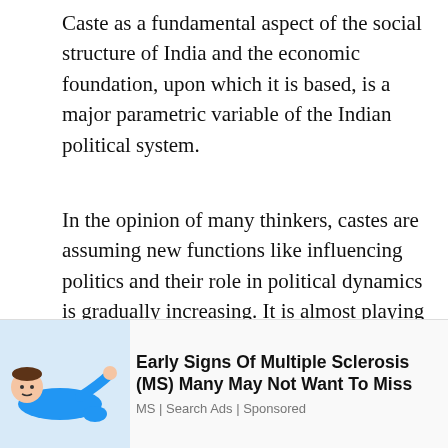Caste as a fundamental aspect of the social structure of India and the economic foundation, upon which it is based, is a major parametric variable of the Indian political system.
In the opinion of many thinkers, castes are assuming new functions like influencing politics and their role in political dynamics is gradually increasing. It is almost playing the role of an effective interest or pressure group at various levels of the discussion making apparatus. The relationship between caste and politics reveals the
We use cookies on our website to give you the most relevant experience by remembering your preferences and repeat visits. By clicking “Accept”, you consent to the use of ALL the cookies. Do not sell my personal information.
[Figure (illustration): Cartoon illustration of a person lying down in a blue shirt, appearing to be in discomfort or pain]
Early Signs Of Multiple Sclerosis (MS) Many May Not Want To Miss
MS | Search Ads | Sponsored